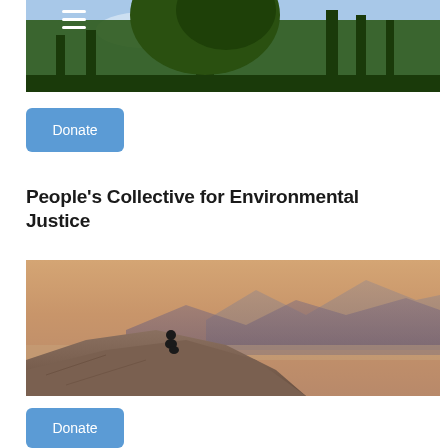[Figure (photo): Hero image of large trees with blue sky at top of page, with hamburger menu icon overlay in top-left corner]
Donate
People’s Collective for Environmental Justice
[Figure (photo): Landscape photo of a person sitting on a rocky cliff overlooking a hazy valley with mountain ranges at sunset]
Donate